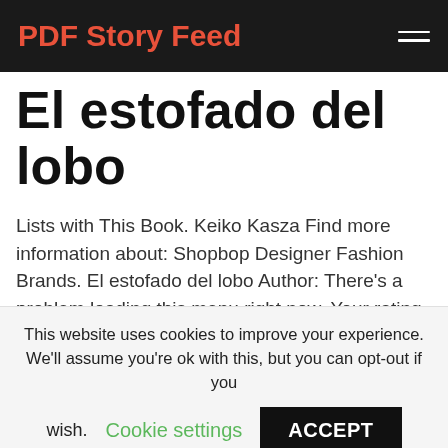PDF Story Feed
El estofado del lobo
Lists with This Book. Keiko Kasza Find more information about: Shopbop Designer Fashion Brands. El estofado del lobo Author: There's a problem loading this menu right now. Your rating has been recorded.
This website uses cookies to improve your experience. We'll assume you're ok with this, but you can opt-out if you wish. Cookie settings ACCEPT